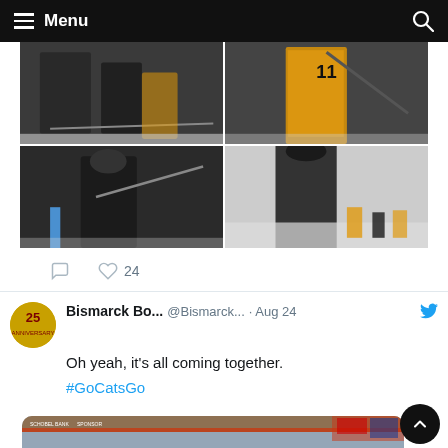Menu
[Figure (photo): Four-panel photo grid of ice hockey players practicing on a rink. Top-left: players in black jerseys on ice with sticks. Top-right: player in gold/yellow jersey with number 11. Bottom-left: player in black jersey with helmet and stick. Bottom-right: coach/staff member from behind watching players on ice.]
24
[Figure (logo): Bismarck Bobcats team logo - circular gold badge with '25' anniversary text]
Bismarck Bo... @Bismarck... · Aug 24
Oh yeah, it's all coming together.
#GoCatsGo
[Figure (photo): Ice hockey arena interior showing the rink with boards, banners, and people standing on the ice surface. Arena signage and American flag visible in background.]